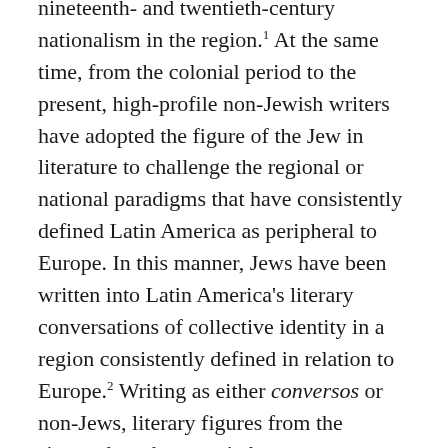nineteenth- and twentieth-century nationalism in the region.¹ At the same time, from the colonial period to the present, high-profile non-Jewish writers have adopted the figure of the Jew in literature to challenge the regional or national paradigms that have consistently defined Latin America as peripheral to Europe. In this manner, Jews have been written into Latin America's literary conversations of collective identity in a region consistently defined in relation to Europe.² Writing as either conversos or non-Jews, literary figures from the sixteenth to the twentieth century, including Fray Luis de León, Miguel de Unamuno, and Rafael Cansinos-Asséns, alongside Sor Juana Inés de la Cruz, Rubén Darío, Jorge Luis Borges,